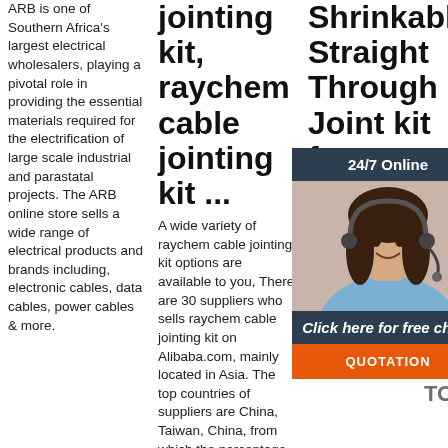ARB is one of Southern Africa's largest electrical wholesalers, playing a pivotal role in providing the essential materials required for the electrification of large scale industrial and parastatal projects. The ARB online store sells a wide range of electrical products and brands including, electronic cables, data cables, power cables & more.
jointing kit, raychem cable jointing kit ...
A wide variety of raychem cable jointing kit options are available to you, There are 30 suppliers who sells raychem cable jointing kit on Alibaba.com, mainly located in Asia. The top countries of suppliers are China, Taiwan, China, from which the percentage of
Shrinkable Straight Through Joint kit for .
GMG International Railway Yamuna Haryana Manufacturer Heat Shrinkable Straight Through Joint Kit 11KV TO 33KV (HT), Heat Shrinkable Termination Kits for HT 11kv- 33kv, Heat Shrink Dual Wall Tubing, Heat Shrinkable Right
[Figure (infographic): Chat widget with '24/7 Online' header, photo of a woman with headset, 'Click here for free chat!' text, and orange QUOTATION button. Also shows a 'TOP' badge with orange dots.]